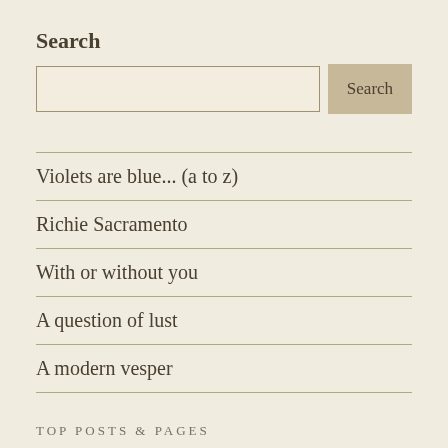Search
[Search input field and Search button]
Violets are blue... (a to z)
Richie Sacramento
With or without you
A question of lust
A modern vesper
TOP POSTS & PAGES
With or without you